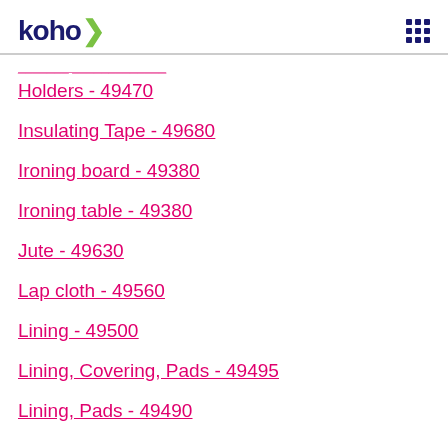koho
Holders - 49470
Insulating Tape - 49680
Ironing board - 49380
Ironing table - 49380
Jute - 49630
Lap cloth - 49560
Lining - 49500
Lining, Covering, Pads - 49495
Lining, Pads - 49490